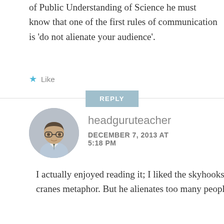of Public Understanding of Science he must know that one of the first rules of communication is 'do not alienate your audience'.
Like
REPLY
[Figure (photo): Circular avatar photo of a man wearing glasses and a collared shirt with a tie, against a light background.]
headguruteacher
DECEMBER 7, 2013 AT 5:18 PM
I actually enjoyed reading it; I liked the skyhooks and cranes metaphor. But he alienates too many people